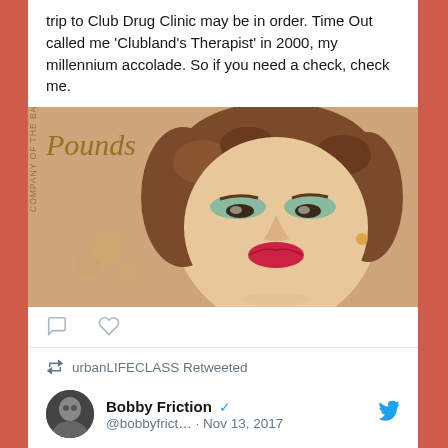trip to Club Drug Clinic may be in order. Time Out called me 'Clubland's Therapist' in 2000, my millennium accolade. So if you need a check, check me.
[Figure (photo): A stylized British pound note featuring Queen Elizabeth II with heavy makeup including green eyeshadow and red lipstick. Text 'Pounds' and 'COMPANY OF THE BANK...' visible on the note.]
urbanLIFECLASS Retweeted
Bobby Friction @bobbyfrict… · Nov 13, 2017
Massive Massive #British #Asian #Sikh moment happening right now that will be